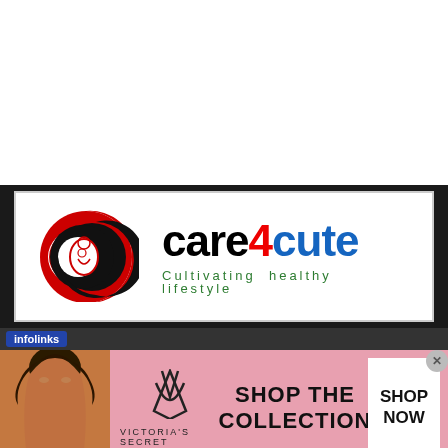[Figure (logo): care4cute logo with red circular C shape containing a mother-and-child illustration, with text 'care4cute' and tagline 'Cultivating healthy lifestyle']
[Figure (advertisement): infolinks ad bar with Victoria's Secret advertisement showing a woman, VS logo, 'SHOP THE COLLECTION' text and a 'SHOP NOW' button]